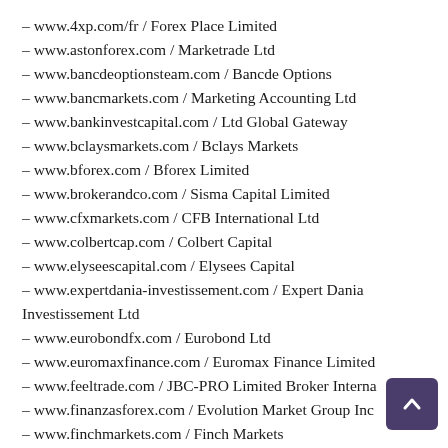– www.4xp.com/fr / Forex Place Limited
– www.astonforex.com / Marketrade Ltd
– www.bancdeoptionsteam.com / Bancde Options
– www.bancmarkets.com / Marketing Accounting Ltd
– www.bankinvestcapital.com / Ltd Global Gateway
– www.bclaysmarkets.com / Bclays Markets
– www.bforex.com / Bforex Limited
– www.brokerandco.com / Sisma Capital Limited
– www.cfxmarkets.com / CFB International Ltd
– www.colbertcap.com / Colbert Capital
– www.elyseescapital.com / Elysees Capital
– www.expertdania-investissement.com / Expert Dania Investissement Ltd
– www.eurobondfx.com / Eurobond Ltd
– www.euromaxfinance.com / Euromax Finance Limited
– www.feeltrade.com / JBC-PRO Limited Broker Interna
– www.finanzasforex.com / Evolution Market Group Inc
– www.finchmarkets.com / Finch Markets